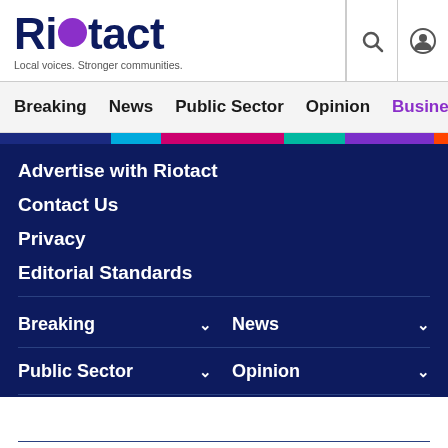Riotact – Local voices. Stronger communities.
Breaking  News  Public Sector  Opinion  Business
Advertise with Riotact
Contact Us
Privacy
Editorial Standards
Breaking
News
Public Sector
Opinion
Business
Property
Sport
Lifestyle